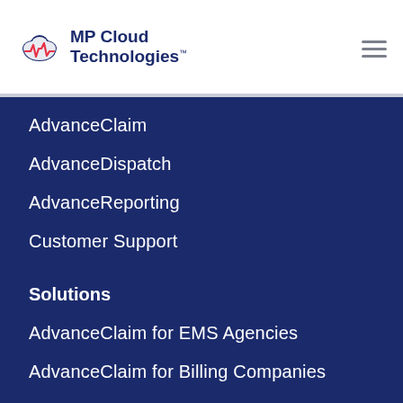[Figure (logo): MP Cloud Technologies logo with cloud and heartbeat icon]
AdvanceClaim
AdvanceDispatch
AdvanceReporting
Customer Support
Solutions
AdvanceClaim for EMS Agencies
AdvanceClaim for Billing Companies
AdvanceDispatch
Integrations